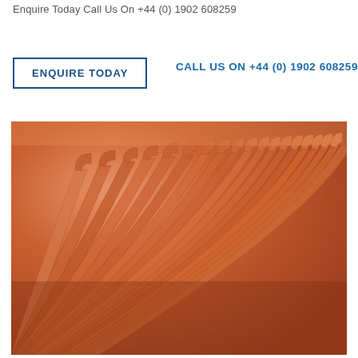Enquire Today Call Us On +44 (0) 1902 608259
ENQUIRE TODAY
CALL US ON +44 (0) 1902 608259
[Figure (photo): Close-up photograph of multiple orange/copper coloured L-shaped or bent metal tubes or stirrups arranged in a fanned overlapping pattern, showing industrial manufacturing components.]